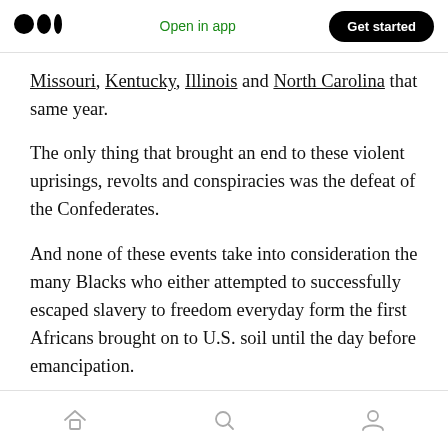Medium logo | Open in app | Get started
Missouri, Kentucky, Illinois and North Carolina that same year.
The only thing that brought an end to these violent uprisings, revolts and conspiracies was the defeat of the Confederates.
And none of these events take into consideration the many Blacks who either attempted to successfully escaped slavery to freedom everyday form the first Africans brought on to U.S. soil until the day before emancipation.
Home | Search | Profile